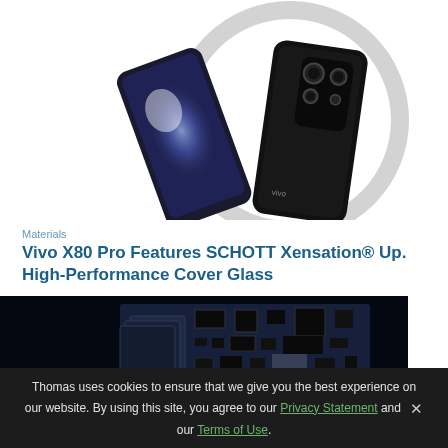[Figure (photo): Vivo X80 Pro smartphone shown from front and back, with a circular metallic ring prop. The phone features a large camera module on the back. Background is white.]
Materials
Vivo X80 Pro Features SCHOTT Xensation® Up. High-Performance Cover Glass
[Figure (photo): Close-up photo of a circuit board (PCB) with black components on dark background.]
Thomas uses cookies to ensure that we give you the best experience on our website. By using this site, you agree to our Privacy Statement and our Terms of Use.